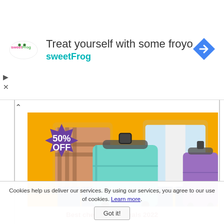[Figure (infographic): SweetFrog advertisement banner with logo on left, text 'Treat yourself with some froyo' and 'sweetFrog' in teal, and a blue diamond navigation icon on right]
[Figure (photo): Two people holding travel suitcases against a yellow background with a purple starburst badge showing '50% OFF' in white text]
Best cheap travel deals 2022
All-inclusive deals for summer/fall 2022 (up to 70% off)
Cheap ...
Cookies help us deliver our services. By using our services, you agree to our use of cookies. Learn more.
Got it!